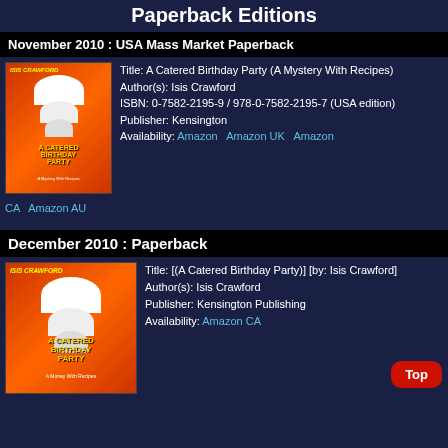Paperback Editions
November 2010 : USA Mass Market Paperback
[Figure (illustration): Book cover for A Catered Birthday Party by Isis Crawford]
Title: A Catered Birthday Party (A Mystery With Recipes)
Author(s): Isis Crawford
ISBN: 0-7582-2195-9 / 978-0-7582-2195-7 (USA edition)
Publisher: Kensington
Availability: Amazon   Amazon UK   Amazon CA   Amazon AU
December 2010 : Paperback
[Figure (illustration): Book cover for A Catered Birthday Party by Isis Crawford]
Title: [(A Catered Birthday Party)] [by: Isis Crawford]
Author(s): Isis Crawford
Publisher: Kensington Publishing
Availability: Amazon CA